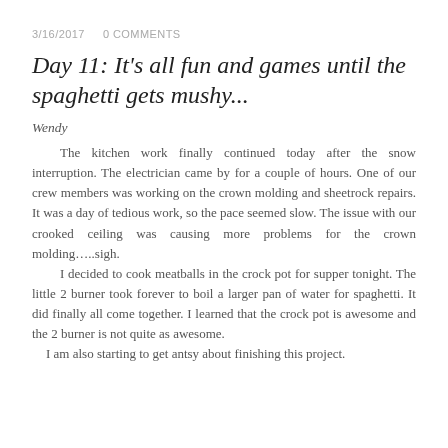3/16/2017   0 COMMENTS
Day 11: It's all fun and games until the spaghetti gets mushy...
Wendy
The kitchen work finally continued today after the snow interruption. The electrician came by for a couple of hours. One of our crew members was working on the crown molding and sheetrock repairs. It was a day of tedious work, so the pace seemed slow. The issue with our crooked ceiling was causing more problems for the crown molding…..sigh.

I decided to cook meatballs in the crock pot for supper tonight. The little 2 burner took forever to boil a larger pan of water for spaghetti. It did finally all come together. I learned that the crock pot is awesome and the 2 burner is not quite as awesome.

I am also starting to get antsy about finishing this project.